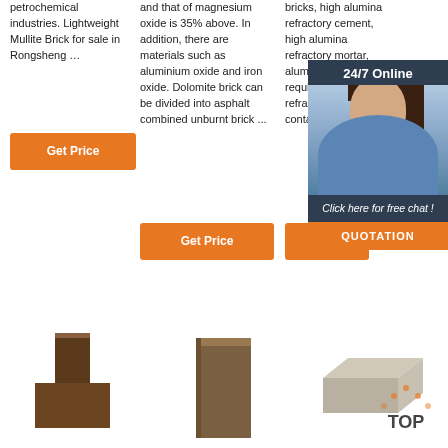petrochemical industries. Lightweight Mullite Brick for sale in Rongsheng …
Get Price
and that of magnesium oxide is 35% above. In addition, there are materials such as aluminium oxide and iron oxide. Dolomite brick can be divided into asphalt combined unburnt brick ...
Get Price
bricks, high alumina refractory cement, high alumina refractory mortar, alumina … you have required high alumina refractory … us! Here contact …
Get Price
[Figure (photo): 24/7 Online chat overlay with female customer service agent, 'Click here for free chat!' text, and orange QUOTATION button]
[Figure (photo): Dark brown refractory brick cross-shaped piece]
[Figure (photo): Brown square refractory brick block]
[Figure (photo): Grey flat refractory brick with TOP logo badge]